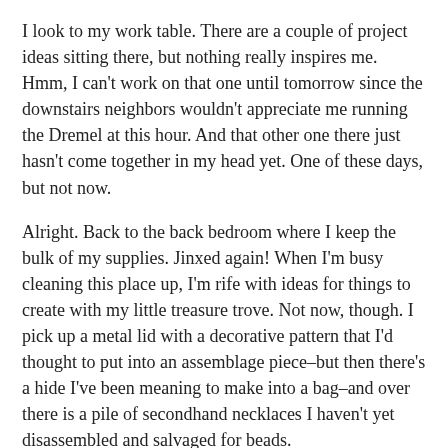I look to my work table. There are a couple of project ideas sitting there, but nothing really inspires me. Hmm, I can't work on that one until tomorrow since the downstairs neighbors wouldn't appreciate me running the Dremel at this hour. And that other one there just hasn't come together in my head yet. One of these days, but not now.
Alright. Back to the back bedroom where I keep the bulk of my supplies. Jinxed again! When I'm busy cleaning this place up, I'm rife with ideas for things to create with my little treasure trove. Not now, though. I pick up a metal lid with a decorative pattern that I'd thought to put into an assemblage piece–but then there's a hide I've been meaning to make into a bag–and over there is a pile of secondhand necklaces I haven't yet disassembled and salvaged for beads.
Worse yet, it's after ten at night and I have a limited shelf life before I need to sleep, caffeine or no. And I have a busy few